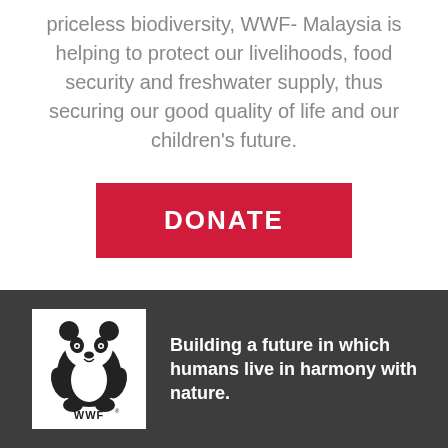priceless biodiversity, WWF- Malaysia is helping to protect our livelihoods, food security and freshwater supply, thus securing our good quality of life and our children's future.
[Figure (other): Red DONATE button]
[Figure (logo): WWF panda logo with text WWF and registered trademark symbol]
Building a future in which humans live in harmony with nature.